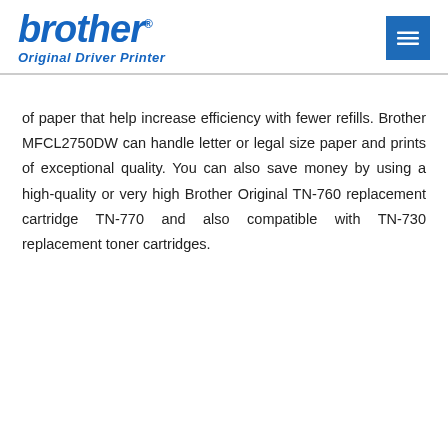brother Original Driver Printer
of paper that help increase efficiency with fewer refills. Brother MFCL2750DW can handle letter or legal size paper and prints of exceptional quality. You can also save money by using a high-quality or very high Brother Original TN-760 replacement cartridge TN-770 and also compatible with TN-730 replacement toner cartridges.